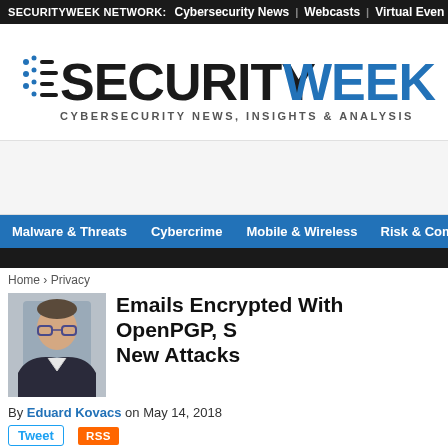SECURITYWEEK NETWORK: Cybersecurity News | Webcasts | Virtual Even
[Figure (logo): SecurityWeek logo with text CYBERSECURITY NEWS, INSIGHTS & ANALYSIS]
[Figure (other): Advertisement banner area]
Malware & Threats | Cybercrime | Mobile & Wireless | Risk & Complia
Home › Privacy
Emails Encrypted With OpenPGP, S New Attacks
By Eduard Kovacs on May 14, 2018
Tweet  RSS